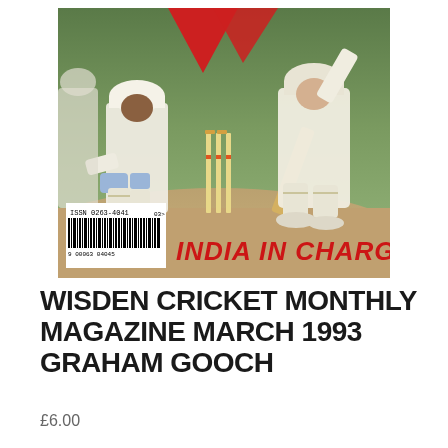[Figure (photo): Magazine cover of Wisden Cricket Monthly showing a cricket match scene with a batsman playing a shot and a wicket-keeper crouching behind the stumps. Red text reads 'INDIA IN CHARGE'. A barcode with ISSN 0263-4041 is visible in the bottom left of the cover.]
WISDEN CRICKET MONTHLY MAGAZINE MARCH 1993 GRAHAM GOOCH
£6.00